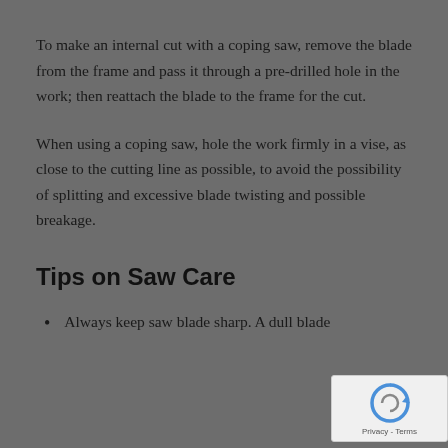To make an internal cut with a coping saw, remove the blade from the frame and pass it through a pre-drilled hole in the work; then reattach the blade to the frame for the cut.
When using a coping saw, hole the work firmly in a vise, as close to the cutting line as possible, to avoid the possibility of splitting and excessive blade twisting and possible breakage.
Tips on Saw Care
Always keep saw blade sharp. A dull blade